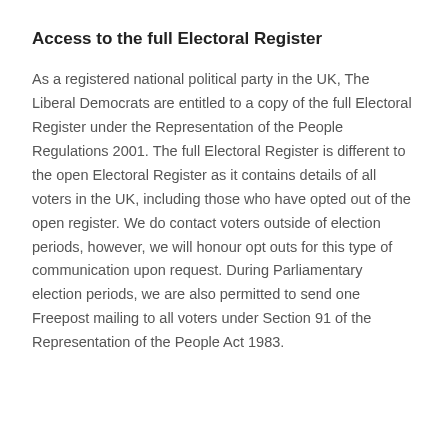Access to the full Electoral Register
As a registered national political party in the UK, The Liberal Democrats are entitled to a copy of the full Electoral Register under the Representation of the People Regulations 2001. The full Electoral Register is different to the open Electoral Register as it contains details of all voters in the UK, including those who have opted out of the open register. We do contact voters outside of election periods, however, we will honour opt outs for this type of communication upon request. During Parliamentary election periods, we are also permitted to send one Freepost mailing to all voters under Section 91 of the Representation of the People Act 1983.